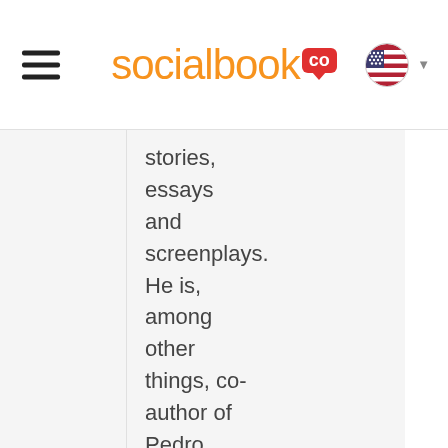socialbook co
stories, essays and screenplays. He is, among other things, co-author of Pedro AlmodÃ³var's film Matador.

Forroro's